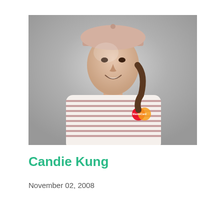[Figure (photo): Portrait photo of Candie Kung, a golfer, wearing a pink/white striped shirt with a MasterCard logo and a light pink visor cap, smiling, against a grey gradient background.]
Candie Kung
November 02, 2008